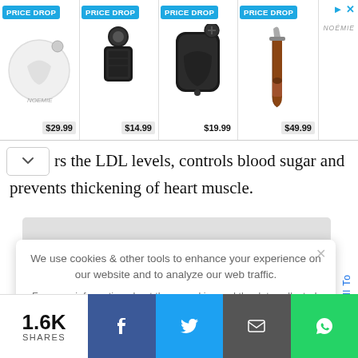[Figure (screenshot): Advertisement banner with 4 product items each labeled PRICE DROP. Items: white coin purse $29.99, black keychain pouch $14.99, black AirPods case $19.99, brown phone strap $49.99. NOEMIE brand logo on right.]
rs the LDL levels, controls blood sugar and prevents thickening of heart muscle.
[Figure (screenshot): Cookie consent popup overlay on gray background. Text: We use cookies & other tools to enhance your experience on our website and to analyze our web traffic. For more information about these cookies and the data collected, please refer to our Privacy Policy. Button: I ACCEPT USE OF COOKIES. Close X button top right. Scroll To text on right margin.]
We use cookies & other tools to enhance your experience on our website and to analyze our web traffic.
For more information about these cookies and the data collected, please refer to our Privacy Policy.
I ACCEPT USE OF COOKIES
1.6K SHARES